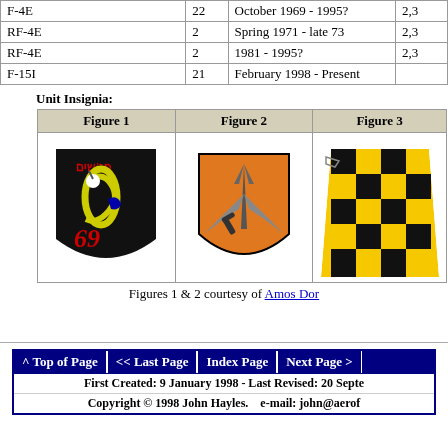| Aircraft | Sq | Period | Col |
| --- | --- | --- | --- |
| F-4E | 22 | October 1969 - 1995? | 2,3 |
| RF-4E | 2 | Spring 1971 - late 73 | 2,3 |
| RF-4E | 2 | 1981 - 1995? | 2,3 |
| F-15I | 21 | February 1998 - Present |  |
Unit Insignia:
| Figure 1 | Figure 2 | Figure 3 |
| --- | --- | --- |
| [badge image 1] | [badge image 2] | [checkerboard image] |
Figures 1 & 2 courtesy of Amos Dor
First Created: 9 January 1998 - Last Revised: 20 September ... | Copyright © 1998 John Hayles. e-mail: john@aerof...